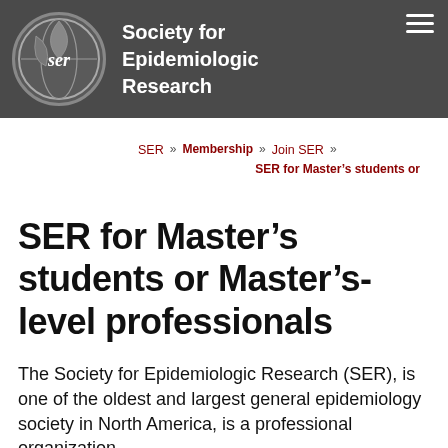Society for Epidemiologic Research
SER » Membership » Join SER » SER for Master’s students or
SER for Master’s students or Master’s-level professionals
The Society for Epidemiologic Research (SER), is one of the oldest and largest general epidemiology society in North America, is a professional organization